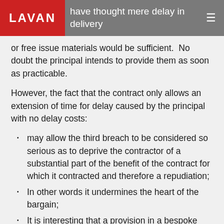LAVAN | ...s reasoning in the Cubic case, I have thought mere delay in delivery
or free issue materials would be sufficient.  No doubt the principal intends to provide them as soon as practicable.
However, the fact that the contract only allows an extension of time for delay caused by the principal with no delay costs:
may allow the third breach to be considered so serious as to deprive the contractor of a substantial part of the benefit of the contract for which it contracted and therefore a repudiation;
In other words it undermines the heart of the bargain;
It is interesting that a provision in a bespoke contract included by the principal with the obvious intention of benefiting the principal